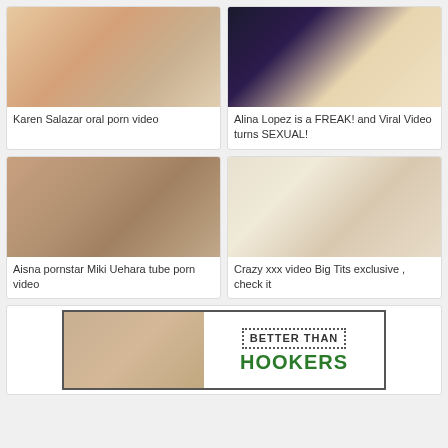[Figure (photo): Thumbnail image for Karen Salazar oral porn video]
Karen Salazar oral porn video
[Figure (photo): Thumbnail image for Alina Lopez is a FREAK! and Viral Video turns SEXUAL!]
Alina Lopez is a FREAK! and Viral Video turns SEXUAL!
[Figure (photo): Thumbnail image for Aisna pornstar Miki Uehara tube porn video]
Aisna pornstar Miki Uehara tube porn video
[Figure (photo): Thumbnail image for Crazy xxx video Big Tits exclusive, check it]
Crazy xxx video Big Tits exclusive , check it
[Figure (photo): Banner advertisement reading BETTER THAN HOOKERS with a thumbnail photo on the left]
BETTER THAN HOOKERS